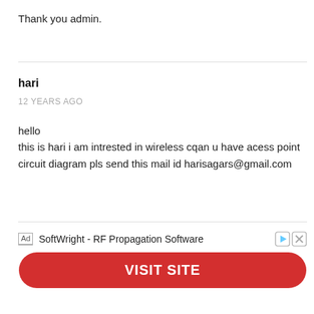Thank you admin.
hari
12 YEARS AGO
hello
this is hari i am intrested in wireless cqan u have acess point circuit diagram pls send this mail id harisagars@gmail.com
[Figure (other): Advertisement banner: SoftWright - RF Propagation Software with a red VISIT SITE button]